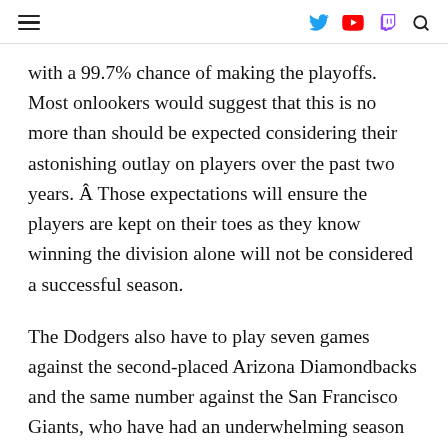Navigation header with hamburger menu and social icons (Twitter, YouTube, Twitch, Search)
with a 99.7% chance of making the playoffs. Most onlookers would suggest that this is no more than should be expected considering their astonishing outlay on players over the past two years. Â Those expectations will ensure the players are kept on their toes as they know winning the division alone will not be considered a successful season.
The Dodgers also have to play seven games against the second-placed Arizona Diamondbacks and the same number against the San Francisco Giants, who have had an underwhelming season but would surely take pleasure in getting the better of their fierce rivals. The Dodgers will make the playoffs; however September will